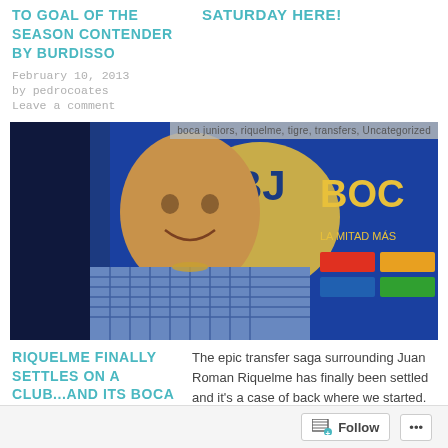TO GOAL OF THE SEASON CONTENDER BY BURDISSO
SATURDAY HERE!
February 10, 2013
by pedrocoates
Leave a comment
[Figure (photo): Man in blue checkered shirt smiling at a Boca Juniors press conference, with Boca Juniors branding in background. Overlay text: 'boca juniors, riquelme, tigre, transfers, Uncategorized']
RIQUELME FINALLY SETTLES ON A CLUB...AND ITS BOCA AGAIN
The epic transfer saga surrounding Juan Roman Riquelme has finally been settled and it's a case of back where we started. After watching Boca lose to River in the final [...]
February 8, 2013
Follow ...